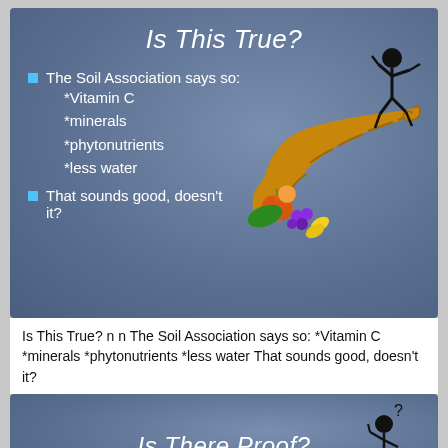Is This True?
The Soil Association says so: *Vitamin C *minerals *phytonutrients *less water
That sounds good, doesn't it?
[Figure (illustration): Cornucopia horn of plenty with fruits and vegetables, and a black stick figure running behind it]
Is This True? n n The Soil Association says so: *Vitamin C *minerals *phytonutrients *less water That sounds good, doesn't it?
Is There Proof?
[Figure (illustration): Black stick figure with hand on head in a questioning/confused pose, with question mark above]